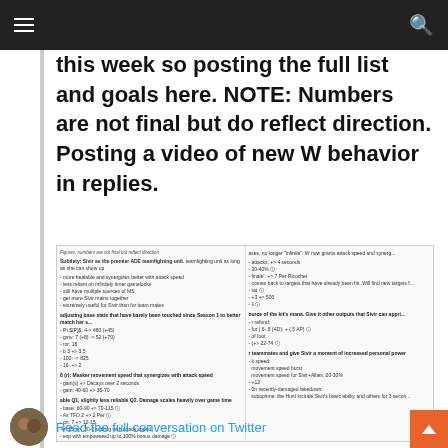[Navigation bar with hamburger menu and search icon]
this week so posting the full list and goals here. NOTE: Numbers are not final but do reflect direction. Posting a video of new W behavior in replies.
[Figure (screenshot): Screenshot of a game patch notes document showing champion stats and ability changes, split into left and right columns with detailed numerical values.]
6:45 PM · Jun 21, 2022
Read the full conversation on Twitter